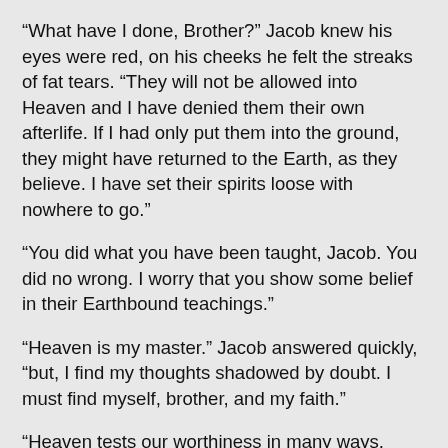“What have I done, Brother?” Jacob knew his eyes were red, on his cheeks he felt the streaks of fat tears. “They will not be allowed into Heaven and I have denied them their own afterlife. If I had only put them into the ground, they might have returned to the Earth, as they believe. I have set their spirits loose with nowhere to go.”
“You did what you have been taught, Jacob. You did no wrong. I worry that you show some belief in their Earthbound teachings.”
“Heaven is my master.” Jacob answered quickly, “but, I find my thoughts shadowed by doubt. I must find myself, brother, and my faith.”
“Heaven tests our worthiness in many ways, Brother Jacob. Where will you head?”
“I have no desire to return to Ashfall in the south, and certainly no urge to go north to the savages. With the sea to the east I have but one direction: west, with the setting sun.”